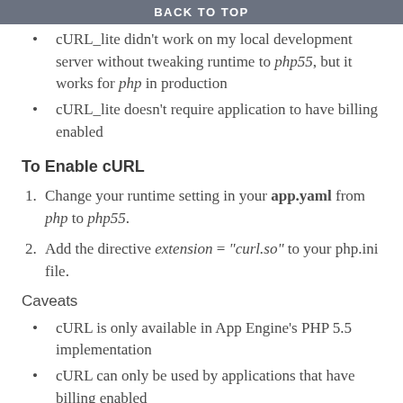BACK TO TOP
cURL_lite didn't work on my local development server without tweaking runtime to php55, but it works for php in production
cURL_lite doesn't require application to have billing enabled
To Enable cURL
Change your runtime setting in your app.yaml from php to php55.
Add the directive extension = "curl.so" to your php.ini file.
Caveats
cURL is only available in App Engine's PHP 5.5 implementation
cURL can only be used by applications that have billing enabled